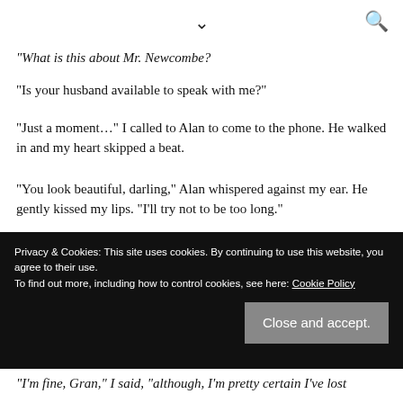▾  🔍
"What is this about Mr. Newcombe?"
"Is your husband available to speak with me?"
"Just a moment…" I called to Alan to come to the phone. He walked in and my heart skipped a beat.
"You look beautiful, darling," Alan whispered against my ear. He gently kissed my lips. "I'll try not to be too long."
Alan spoke for several minutes and I made my way into the dining room where the kids, Granny and Grandad were
"I'm fine, Gran," I said, "although, I'm pretty certain I've lost
Privacy & Cookies: This site uses cookies. By continuing to use this website, you agree to their use.
To find out more, including how to control cookies, see here: Cookie Policy
Close and accept.